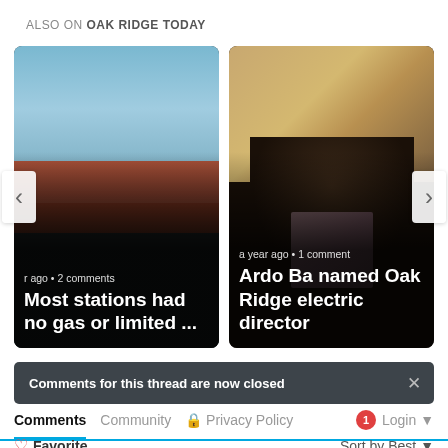ALSO ON OAK RIDGE TODAY
[Figure (screenshot): Two news article cards in a carousel. Left card: gas station image with text 'Most stations had no gas or limited ...' and metadata 'r ago • 2 comments'. Right card: portrait of Ardo Ba with text 'Ardo Ba named Oak Ridge electric director' and metadata 'a year ago • 1 comment'. Navigation arrows on both sides.]
Comments for this thread are now closed
Comments  Community  🔒 Privacy Policy  1  Login ▾
♡ Favorite  Sort by Best ▾